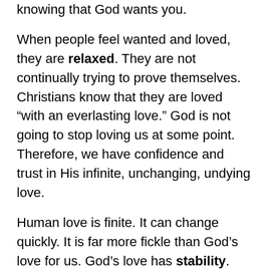knowing that God wants you.
When people feel wanted and loved, they are relaxed. They are not continually trying to prove themselves. Christians know that they are loved “with an everlasting love.” God is not going to stop loving us at some point. Therefore, we have confidence and trust in His infinite, unchanging, undying love.
Human love is finite. It can change quickly. It is far more fickle than God’s love for us. God’s love has stability. We can count on God’s love. This kind of love is catalytic to the Christian life.
There are great comfort and security in being loved by Someone who will not be daunted by